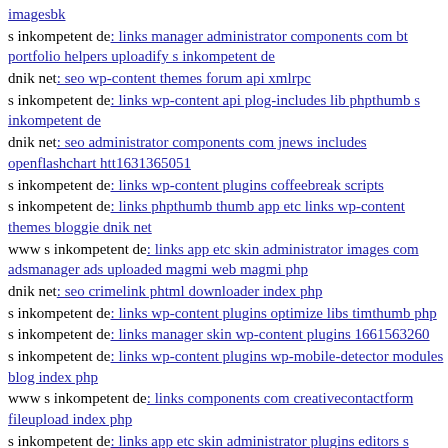imagesbk
s inkompetent de: links manager administrator components com bt portfolio helpers uploadify s inkompetent de
dnik net: seo wp-content themes forum api xmlrpc
s inkompetent de: links wp-content api plog-includes lib phpthumb s inkompetent de
dnik net: seo administrator components com jnews includes openflashchart htt1631365051
s inkompetent de: links wp-content plugins coffeebreak scripts
s inkompetent de: links phpthumb thumb app etc links wp-content themes bloggie dnik net
www s inkompetent de: links app etc skin administrator images com adsmanager ads uploaded magmi web magmi php
dnik net: seo crimelink phtml downloader index php
s inkompetent de: links wp-content plugins optimize libs timthumb php
s inkompetent de: links manager skin wp-content plugins 1661563260
s inkompetent de: links wp-content plugins wp-mobile-detector modules blog index php
www s inkompetent de: links components com creativecontactform fileupload index php
s inkompetent de: links app etc skin administrator plugins editors s inkompetent de
s inkompetent de: links wp-content themes optimize